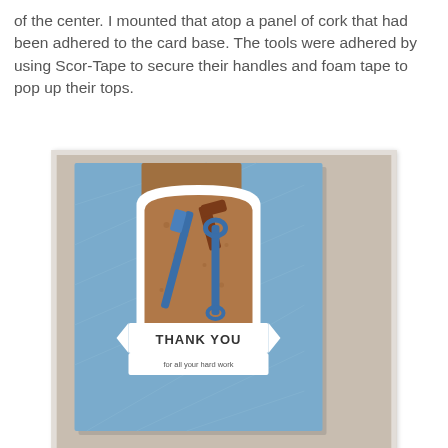of the center. I mounted that atop a panel of cork that had been adhered to the card base. The tools were adhered by using Scor-Tape to secure their handles and foam tape to pop up their tops.
[Figure (photo): A handmade greeting card propped up against a light background. The card has a blue textured front with a decorative die-cut emblem in the center featuring a cork background and blue tool silhouettes (hammer, screwdriver, wrench). A white banner reads 'THANK YOU for all your hard work'.]